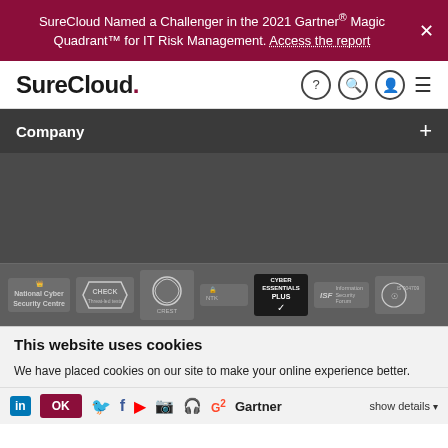SureCloud Named a Challenger in the 2021 Gartner® Magic Quadrant™ for IT Risk Management. Access the report
[Figure (logo): SureCloud logo with red dot]
[Figure (other): Navigation icons: help circle, search, account, hamburger menu]
Company
[Figure (other): Dark content area with certification badge logos: National Cyber Security Centre, CHECK, CREST, ISF, Cyber Essentials Plus, BSI]
This website uses cookies
We have placed cookies on our site to make your online experience better.
[Figure (other): Social media icons: LinkedIn, Twitter, Facebook, YouTube, Instagram, Podcast, G2, Gartner; OK button and Show details button]